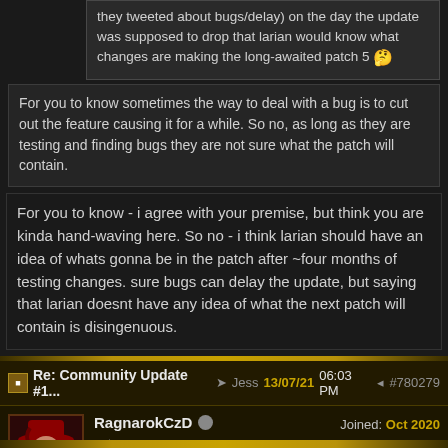they tweeted about bugs/delay) on the day the update was supposed to drop that larian would know what changes are making the long-awaited patch 5 🤔
For you to know sometimes the way to deal with a bug is to cut out the feature causing it for a while. So no, as long as they are testing and finding bugs they are not sure what the patch will contain.
For you to know - i agree with your premise, but think you are kinda hand-waving here. So no - i think larian should have an idea of whats gonna be in the patch after ~four months of testing changes. sure bugs can delay the update, but saying that larian doesnt have any idea of what the next patch will contain is disingenuous.
Re: Community Update #1... ➤ Jess 13/07/21 06:03 PM #780279
RagnarokCzD
veteran
Joined: Oct 2020
Location: Liberec
Well ... after all, Swen did warned us in PFH. :-/
Its a pitty, but 2 days are quite fine. :3